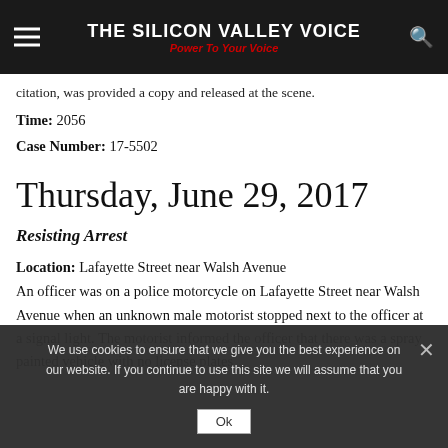THE SILICON VALLEY VOICE — Power To Your Voice
citation, was provided a copy and released at the scene.
Time: 2056
Case Number: 17-5502
Thursday, June 29, 2017
Resisting Arrest
Location: Lafayette Street near Walsh Avenue
An officer was on a police motorcycle on Lafayette Street near Walsh Avenue when an unknown male motorist stopped next to the officer at a signal light. The motorist informed the officer that there was a spray painted vehicle with no license plates
We use cookies to ensure that we give you the best experience on our website. If you continue to use this site we will assume that you are happy with it.